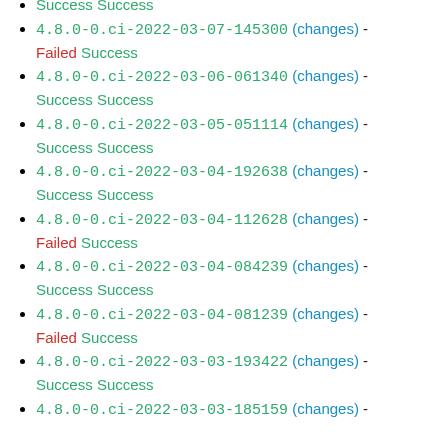Success Success
4.8.0-0.ci-2022-03-07-145300 (changes) - Failed Success
4.8.0-0.ci-2022-03-06-061340 (changes) - Success Success
4.8.0-0.ci-2022-03-05-051114 (changes) - Success Success
4.8.0-0.ci-2022-03-04-192638 (changes) - Success Success
4.8.0-0.ci-2022-03-04-112628 (changes) - Failed Success
4.8.0-0.ci-2022-03-04-084239 (changes) - Success Success
4.8.0-0.ci-2022-03-04-081239 (changes) - Failed Success
4.8.0-0.ci-2022-03-03-193422 (changes) - Success Success
4.8.0-0.ci-2022-03-03-185159 (changes) -